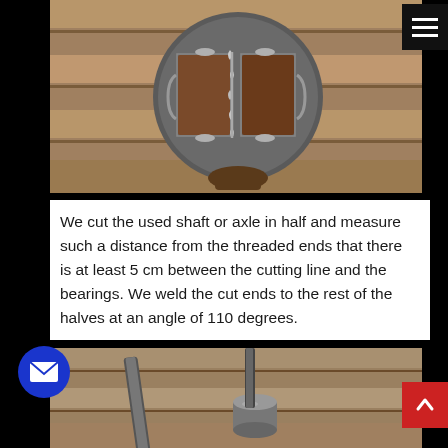[Figure (photo): A round metal disc/plate being held by hand, showing welded rectangular metal pieces on its surface, resting on wooden planks in the background.]
We cut the used shaft or axle in half and measure such a distance from the threaded ends that there is at least 5 cm between the cutting line and the bearings. We weld the cut ends to the rest of the halves at an angle of 110 degrees.
[Figure (photo): Close-up photo of metal rods/shafts and a metallic cylindrical part, placed on wooden blocks or planks.]